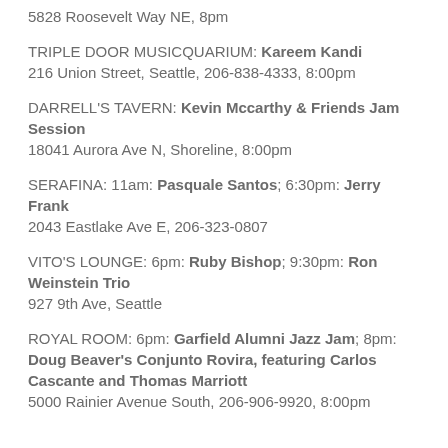5828 Roosevelt Way NE, 8pm
TRIPLE DOOR MUSICQUARIUM: Kareem Kandi
216 Union Street, Seattle, 206-838-4333, 8:00pm
DARRELL'S TAVERN: Kevin Mccarthy & Friends Jam Session
18041 Aurora Ave N, Shoreline, 8:00pm
SERAFINA: 11am: Pasquale Santos; 6:30pm: Jerry Frank
2043 Eastlake Ave E, 206-323-0807
VITO'S LOUNGE: 6pm: Ruby Bishop; 9:30pm: Ron Weinstein Trio
927 9th Ave, Seattle
ROYAL ROOM: 6pm: Garfield Alumni Jazz Jam; 8pm: Doug Beaver's Conjunto Rovira, featuring Carlos Cascante and Thomas Marriott
5000 Rainier Avenue South, 206-906-9920, 8:00pm